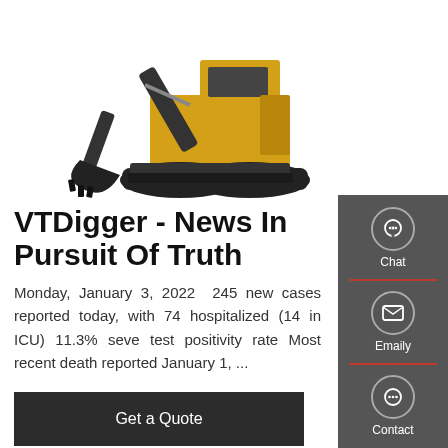[Figure (photo): Yellow and black mini excavator/digger machine viewed from the front-side, showing bucket arm and tracks, on white background]
VTDigger - News In Pursuit Of Truth
Monday, January 3, 2022  245 new cases reported today, with 74 hospitalized (14 in ICU) 11.3% seve test positivity rate Most recent death reported January 1, ...
[Figure (other): Side panel with chat, email, and contact icons on dark grey background]
Get a Quote